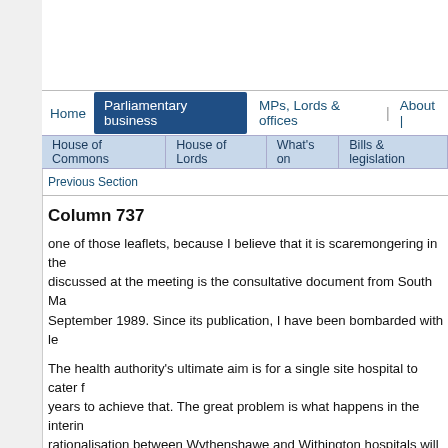Home | Parliamentary business | MPs, Lords & offices | About |
House of Commons | House of Lords | What's on | Bills & legislation
Previous Section
Column 737
one of those leaflets, because I believe that it is scaremongering in the discussed at the meeting is the consultative document from South Ma September 1989. Since its publication, I have been bombarded with le
The health authority's ultimate aim is for a single site hospital to cater years to achieve that. The great problem is what happens in the inter rationalisation between Wythenshawe and Withington hospitals will be
The health authority put forward two options. It recommended what it major centre and would also be allocated general surgery. The effect remote from district general hospital services. That would also lead to
Most people who have written to me have emphasised how strongly th accident centre. After all, we have a major airport in our area. Manches over the past three years. It has been estimated that travelling time fro whereas from the airport to Withington it is up to 19.75 minutes. That Manchester airport. No doubt that is why the police, the fire service a